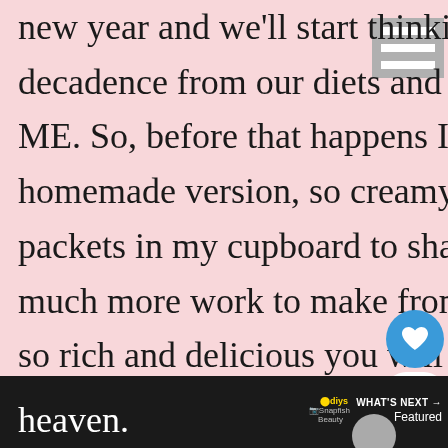new year and we'll start thinking that we have to cut all decadence from our diets and replace it with kale. HOLD ME. So, before that happens I wanted to my favorite homemade version, so creamy and rich it puts the hot cocoa packets in my cupboard to shame.  Plus, it's really not that much more work to make from scratch and the results are so rich and delicious you will die and go to creamy hot chocolate heaven.
WHAT'S NEXT → Featured